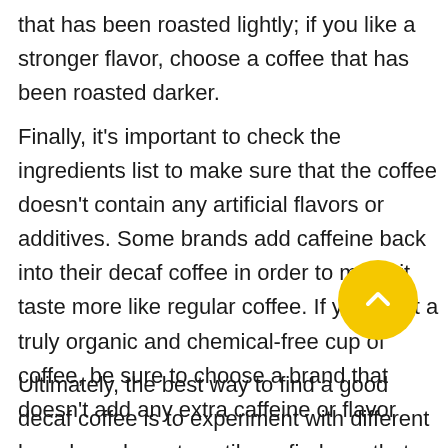that has been roasted lightly; if you like a stronger flavor, choose a coffee that has been roasted darker.
Finally, it's important to check the ingredients list to make sure that the coffee doesn't contain any artificial flavors or additives. Some brands add caffeine back into their decaf coffee in order to make it taste more like regular coffee. If you want a truly organic and chemical-free cup of coffee, be sure to choose a brand that doesn't add any extra caffeine or flavor
Ultimately, the best way to find a good decaf coffee is to experiment with different brands and roasts until you find one that you like. With so many options